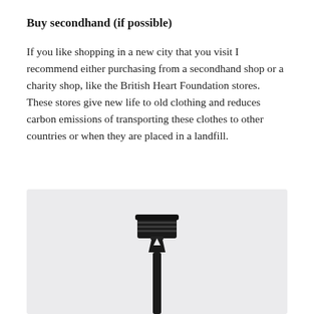Buy secondhand (if possible)
If you like shopping in a new city that you visit I recommend either purchasing from a secondhand shop or a charity shop, like the British Heart Foundation stores. These stores give new life to old clothing and reduces carbon emissions of transporting these clothes to other countries or when they are placed in a landfill.
[Figure (photo): A black disposable razor photographed against a light grey background, showing the blade head at the top and the handle extending downward.]